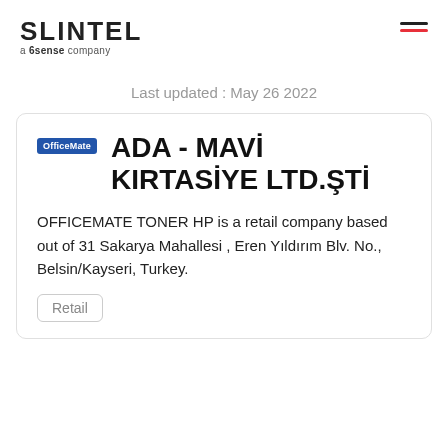SLINTEL a 6sense company
Last updated : May 26 2022
ADA - MAVİ KIRTASİYE LTD.ŞTİ
OFFICEMATE TONER HP is a retail company based out of 31 Sakarya Mahallesi , Eren Yıldırım Blv. No., Belsin/Kayseri, Turkey.
Retail